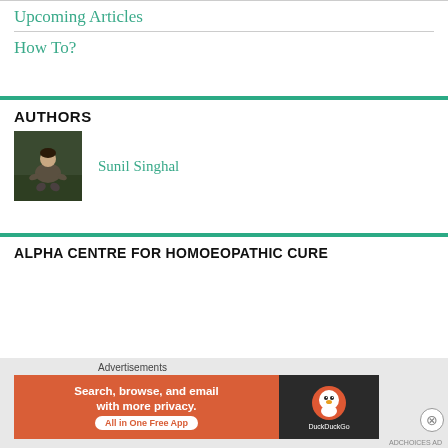Upcoming Articles
How To?
AUTHORS
[Figure (photo): Author photo of Sunil Singhal, a person crouching outdoors on green grass, dark background]
Sunil Singhal
ALPHA CENTRE FOR HOMOEOPATHIC CURE
Advertisements
[Figure (other): DuckDuckGo advertisement banner: 'Search, browse, and email with more privacy. All in One Free App' with DuckDuckGo logo on dark background]